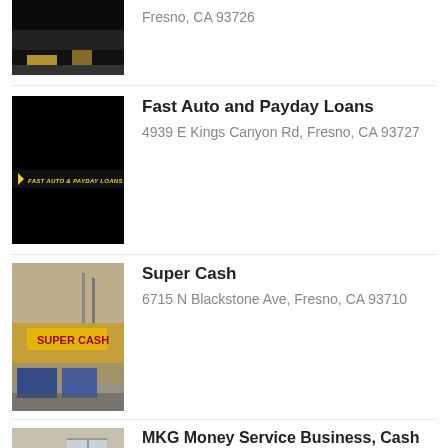Fresno, CA 93726
[Figure (photo): Exterior night photo of a business location in Fresno, CA 93726]
[Figure (photo): Composite image: dark exterior photo and Fast Auto & Payday Loans banner sign]
Fast Auto and Payday Loans
4939 E Kings Canyon Rd, Fresno, CA 93727
[Figure (photo): Exterior photo of Super Cash storefront, yellow/orange building]
Super Cash
6715 N Blackstone Ave, Fresno, CA 93710
[Figure (photo): Interior photo of MKG Money Service Business waiting area with chairs]
MKG Money Service Business, Cash Advance Short Term Repayment Option Lender
4021 N Fresno St 107,